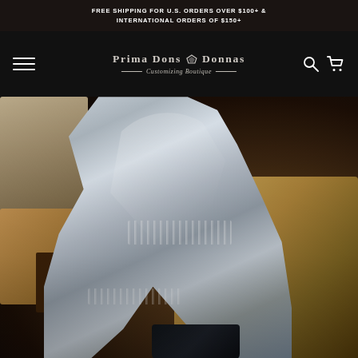FREE SHIPPING FOR U.S. ORDERS OVER $100+ & INTERNATIONAL ORDERS OF $150+
[Figure (logo): Prima Dons & Donnas Customizing Boutique logo with diamond icon, navigation hamburger menu on left, search and cart icons on right, on black background]
[Figure (photo): Person wearing a silver metallic shiny outfit with chain details on legs and midsection, sitting/posing on warm-toned upholstered furniture in a dimly lit room]